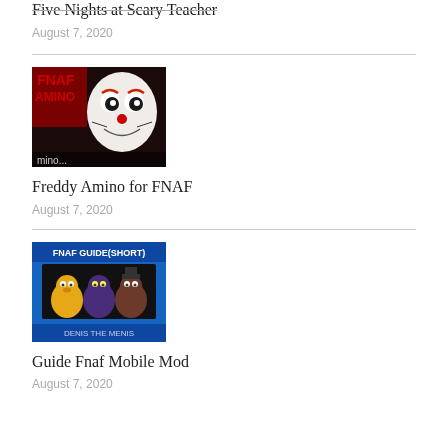Five Nights at Scary Teacher
August 7, 2020
[Figure (photo): Freddy Amino for FNAF app icon showing a clown/puppet animatronic character with FNAF Amino branding]
Freddy Amino for FNAF
August 7, 2020
[Figure (photo): FNAF Guide (Short) app cover with text 'FNAF GUIDE(SHORT)' and 'DENIS THE MENIS', showing animatronic characters on blue background]
Guide Fnaf Mobile Mod
August 7, 2020